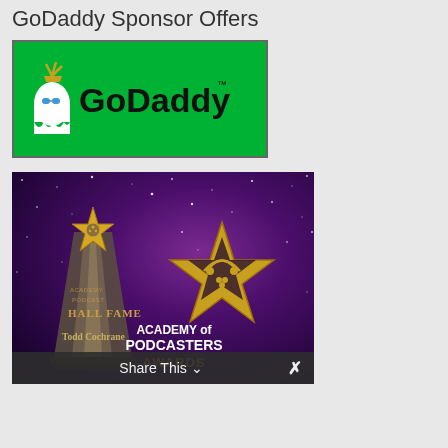GoDaddy Sponsor Offers
[Figure (logo): GoDaddy logo on green background — white cartoon character mascot with sunglasses and crown, bold black text 'GoDaddy' with trademark symbol]
[Figure (photo): Academy of Podcasters Awards image — dark purple starry background, crystal/glass Hall of Fame trophy with star on top showing 'HALL FAME' and 'Todd Cochrane', gold star-shaped Academy of Podcasters Awards logo on right with text 'ACADEMY of PODCASTERS AWARDS'. Share This bar at bottom.]